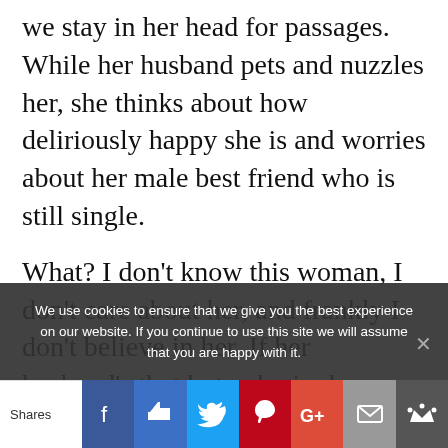we stay in her head for passages. While her husband pets and nuzzles her, she thinks about how deliriously happy she is and worries about her male best friend who is still single.
What? I don't know this woman, I don't care about her, and frankly I don't believe in her. If her husband's that hot, why is she thinking about another man?
I'd much rather bond with this story's main
We use cookies to ensure that we give you the best experience on our website. If you continue to use this site we will assume that you are happy with it.
Shares